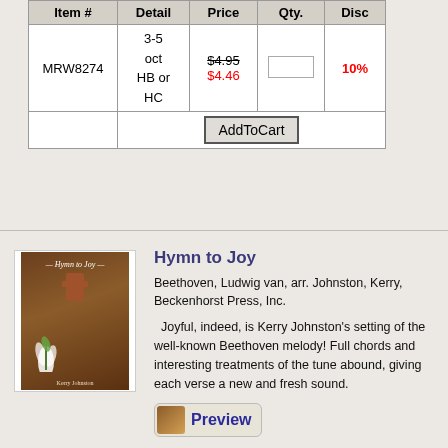| Item # | Detail | Price | Qty. | Disc |
| --- | --- | --- | --- | --- |
| MRW8274 | 3-5 oct HB or HC | $4.95 / $4.46 |  | 10% |
|  | AddToCart |  |  |  |
[Figure (photo): Book cover of 'Hymn to Joy' showing a wooden cross and white lily on a brown background]
Hymn to Joy
Beethoven, Ludwig van, arr. Johnston, Kerry, Beckenhorst Press, Inc.
Joyful, indeed, is Kerry Johnston's setting of the well-known Beethoven melody! Full chords and interesting treatments of the tune abound, giving each verse a new and fresh sound.